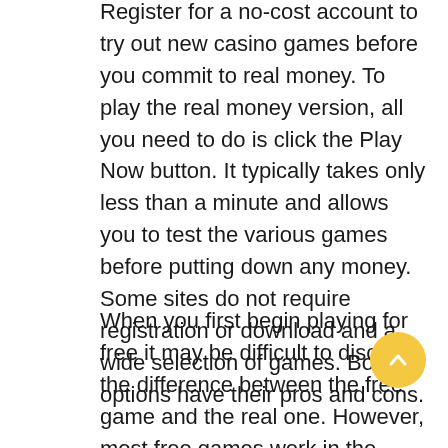Register for a no-cost account to try out new casino games before you commit to real money. To play the real money version, all you need to do is click the Play Now button. It typically takes only less than a minute and allows you to test the various games before putting down any money. Some sites do not require registration or download and a wide selection of games. Both options have their pros and cons.
When you first begin playing for free it may be difficult to discern the difference between the free game and the real one. However, most free games work in the same way as their counterparts in real money. The symbols on the reels are identical and the payout tables are identical. Since you're not